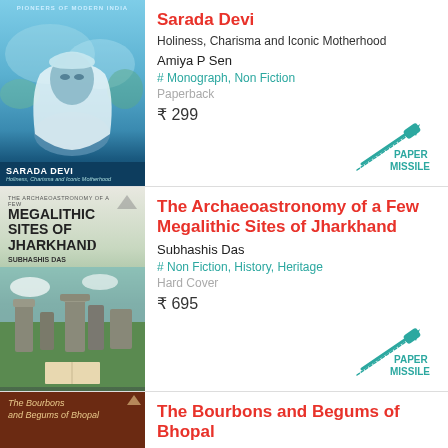[Figure (illustration): Book cover of Sarada Devi with blue-toned portrait of a woman with white shawl, text 'PIONEERS OF MODERN INDIA' at top, dark blue bottom band with 'SARADA DEVI' title]
Sarada Devi
Holiness, Charisma and Iconic Motherhood
Amiya P Sen
# Monograph, Non Fiction
Paperback
₹ 299
[Figure (logo): Paper Missile publisher logo with rocket and pen design]
[Figure (illustration): Book cover of The Archaeoastronomy of a Few Megalithic Sites of Jharkhand, showing standing stones in a field]
The Archaeoastronomy of a Few Megalithic Sites of Jharkhand
Subhashis Das
# Non Fiction, History, Heritage
Hard Cover
₹ 695
[Figure (logo): Paper Missile publisher logo with rocket and pen design]
[Figure (illustration): Book cover of The Bourbons and Begums of Bhopal, dark brown/red cover with decorative elements]
The Bourbons and Begums of Bhopal